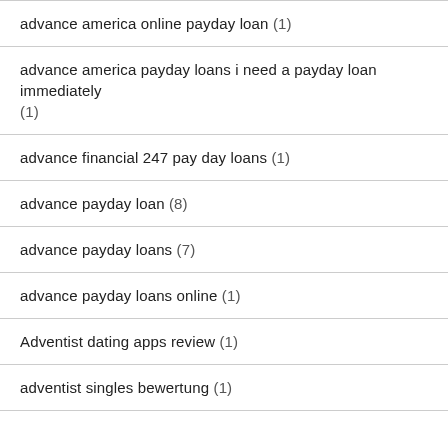advance america online payday loan (1)
advance america payday loans i need a payday loan immediately (1)
advance financial 247 pay day loans (1)
advance payday loan (8)
advance payday loans (7)
advance payday loans online (1)
Adventist dating apps review (1)
adventist singles bewertung (1)